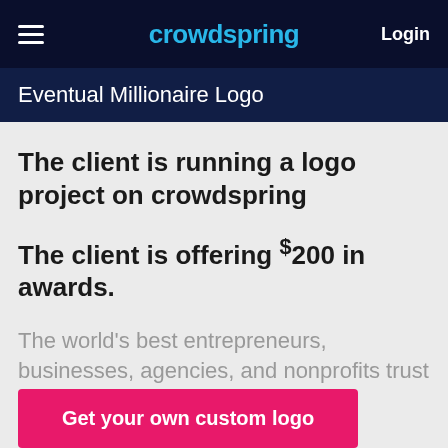crowdspring  Login
Eventual Millionaire Logo
The client is running a logo project on crowdspring
The client is offering $200 in awards.
The world's best entrepreneurs, businesses, agencies, and nonprofits trust crowdspring for custom logo needs.
Get your own custom logo